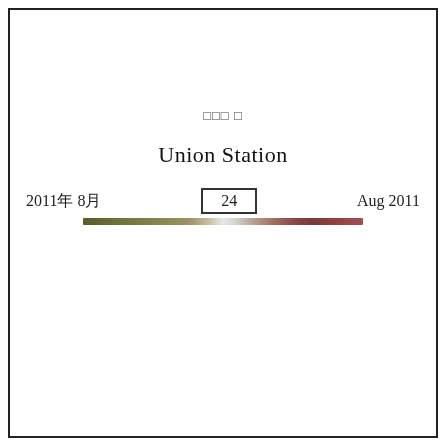□□□ □
Union Station
2011年 8月   24   Aug 2011
[Figure (other): A thin horizontal color gradient bar spanning from olive/camouflage greens and browns on the left, through white/silver in the center, to reddish-brown and rose tones on the right.]